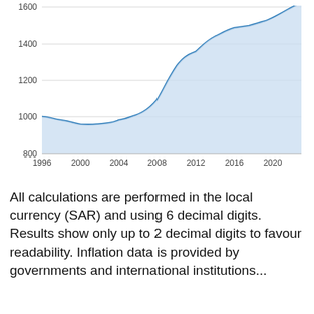[Figure (area-chart): ]
All calculations are performed in the local currency (SAR) and using 6 decimal digits. Results show only up to 2 decimal digits to favour readability. Inflation data is provided by governments and international institutions...